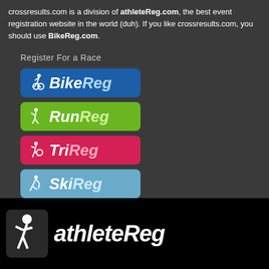crossresults.com is a division of athleteReg.com, the best event registration website in the world (duh). If you like crossresults.com, you should use BikeReg.com.
Register For a Race
[Figure (logo): BikeReg logo button - blue background with white cyclist icon and bold italic white/light-blue text 'BikeReg']
[Figure (logo): RunReg logo button - green background with white runner icon and bold italic white/light-green text 'RunReg']
[Figure (logo): TriReg logo button - red/pink background with white triathlete icon and bold italic white/light-pink text 'TriReg']
[Figure (logo): SkiReg logo button - steel blue background with white skier icon and bold italic white/light-blue text 'SkiReg']
[Figure (logo): athleteReg logo - black background with white stick figure athlete icon and bold italic white text 'athleteReg']